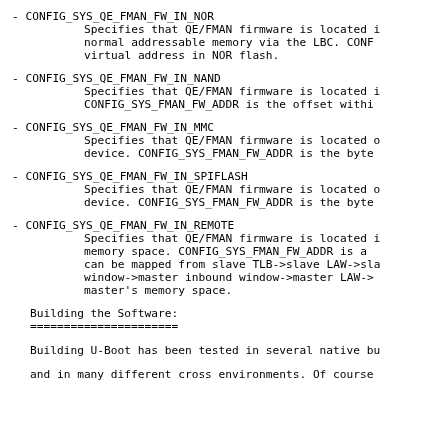- CONFIG_SYS_QE_FMAN_FW_IN_NOR
        Specifies that QE/FMAN firmware is located in normal addressable memory via the LBC.  CONFIG_SYS_FMAN_FW_ADDR is the virtual address in NOR flash.
- CONFIG_SYS_QE_FMAN_FW_IN_NAND
        Specifies that QE/FMAN firmware is located in NAND. CONFIG_SYS_FMAN_FW_ADDR is the offset within NAND.
- CONFIG_SYS_QE_FMAN_FW_IN_MMC
        Specifies that QE/FMAN firmware is located on an MMC device.  CONFIG_SYS_FMAN_FW_ADDR is the byte offset.
- CONFIG_SYS_QE_FMAN_FW_IN_SPIFLASH
        Specifies that QE/FMAN firmware is located on a SPI device.  CONFIG_SYS_FMAN_FW_ADDR is the byte offset.
- CONFIG_SYS_QE_FMAN_FW_IN_REMOTE
        Specifies that QE/FMAN firmware is located in remote memory space.   CONFIG_SYS_FMAN_FW_ADDR is an address that can be mapped from slave TLB->slave LAW->slave SRIO outbound window->master inbound window->master LAW->master's memory space.
Building the Software:
======================
Building U-Boot has been tested in several native builds and in many different cross environments.  Of course